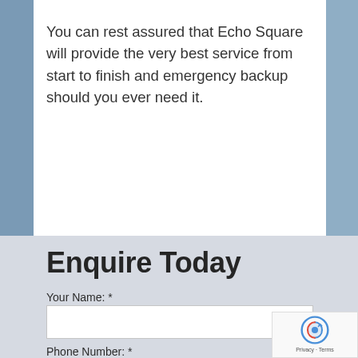You can rest assured that Echo Square will provide the very best service from start to finish and emergency backup should you ever need it.
Enquire Today
Your Name: *
Phone Number: *
Brief Description: *